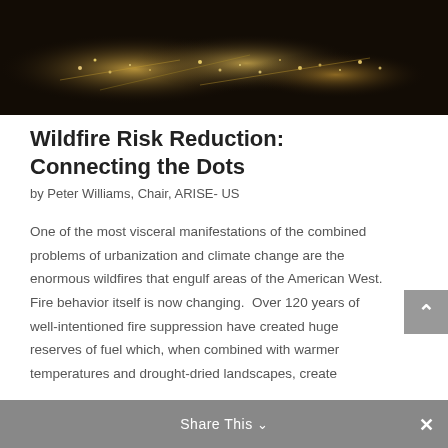[Figure (photo): Aerial night photograph of an urban area with city lights visible against a dark background]
Wildfire Risk Reduction: Connecting the Dots
by Peter Williams, Chair, ARISE- US
One of the most visceral manifestations of the combined problems of urbanization and climate change are the enormous wildfires that engulf areas of the American West. Fire behavior itself is now changing.  Over 120 years of well-intentioned fire suppression have created huge reserves of fuel which, when combined with warmer temperatures and drought-dried landscapes, create